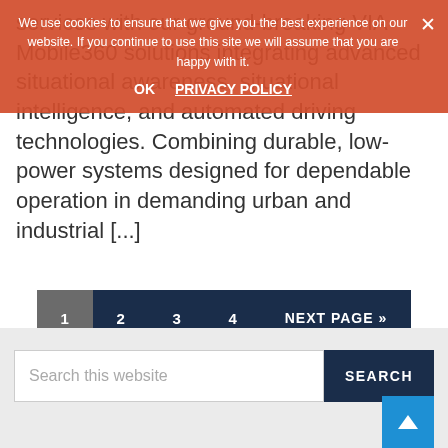[Figure (screenshot): Cookie consent banner overlay with orange/red background. Text reads: 'We use cookies to ensure that we give you the best experience on our website. If you continue to use this site we will assume that you are happy with it.' with OK and PRIVACY POLICY links, and a close X button.]
services with our ground-breaking VIA Mobile360 solutions integrating advanced situational awareness, situational intelligence, and automated driving technologies. Combining durable, low-power systems designed for dependable operation in demanding urban and industrial [...]
1
2
3
4
NEXT PAGE »
Search this website